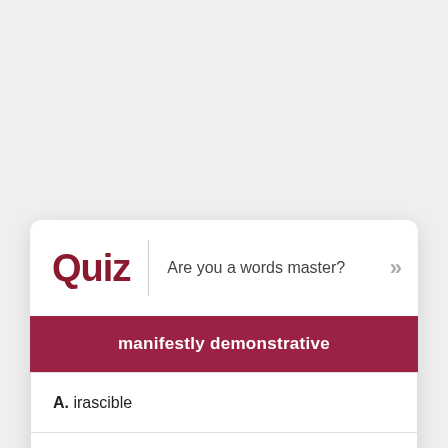Quiz | Are you a words master?
manifestly demonstrative
A. irascible
B. valetudinarian
C. ostensive